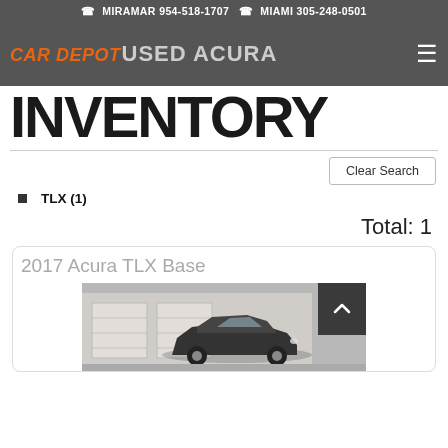MIRAMAR 954-518-1707   MIAMI 305-248-0501
CAR DEPOT USED ACURA INVENTORY
Clear Search
TLX (1)
Total: 1
2017 Acura TLX Base
[Figure (photo): Photo of a dark Acura TLX sedan parked outside a building with garage doors]